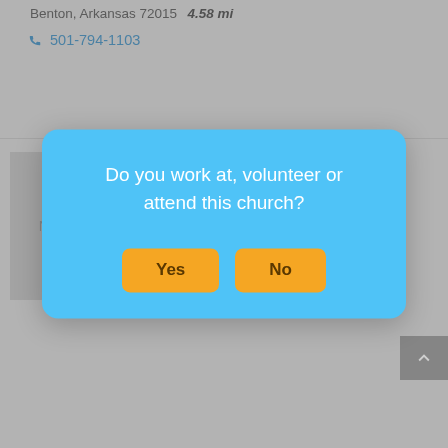Benton, Arkansas 72015  4.58 mi
501-794-1103
HOLLAND CHAPEL BAPTIST CHURCH
Baptist
[Figure (screenshot): Modal dialog overlay asking: Do you work at, volunteer or attend this church? with Yes and No buttons]
BENTON FIRST ASSEMBLY OF GOD
Assemblies of God
1801 HOT SPRINGS HIGHWAY, Benton, Arkansas 72015  4.86 mi